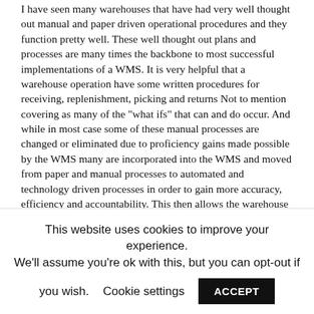I have seen many warehouses that have had very well thought out manual and paper driven operational procedures and they function pretty well. These well thought out plans and processes are many times the backbone to most successful implementations of a WMS. It is very helpful that a warehouse operation have some written procedures for receiving, replenishment, picking and returns Not to mention covering as many of the "what ifs" that can and do occur. And while in most case some of these manual processes are changed or eliminated due to proficiency gains made possible by the WMS many are incorporated into the WMS and moved from paper and manual processes to automated and technology driven processes in order to gain more accuracy, efficiency and accountability. This then allows the warehouse manager to work on the business not in the business. In my opinion that is a tremendous gain for the warehouse the company and their customers.
This website uses cookies to improve your experience. We'll assume you're ok with this, but you can opt-out if you wish. Cookie settings ACCEPT